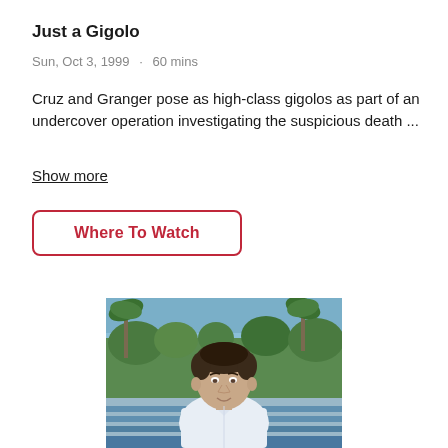Just a Gigolo
Sun, Oct 3, 1999 · 60 mins
Cruz and Granger pose as high-class gigolos as part of an undercover operation investigating the suspicious death ...
Show more
Where To Watch
[Figure (photo): A young man with dark curly hair wearing a white collared shirt, standing outdoors with blue sky, palm trees, and greenery in the background.]